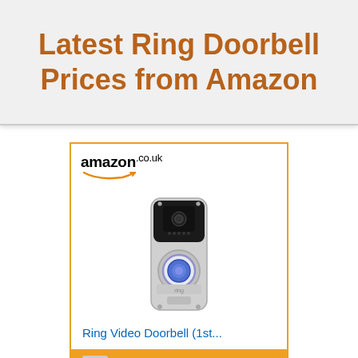Latest Ring Doorbell Prices from Amazon
[Figure (screenshot): Amazon.co.uk product card showing Ring Video Doorbell (1st generation) with Shop now button]